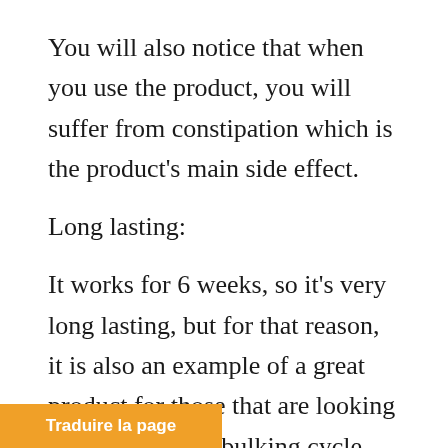You will also notice that when you use the product, you will suffer from constipation which is the product’s main side effect.
Long lasting:
It works for 6 weeks, so it’s very long lasting, but for that reason, it is also an example of a great product for those that are looking to build muscle, bulking cycle time.
Traduire la page